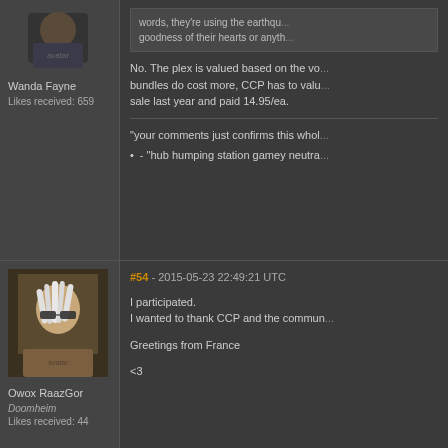[Figure (photo): Avatar image of user Wanda Fayne, partial view of a character]
Wanda Fayne
Likes received: 659
words, they're using the earthqua... goodness of their hearts or anyth...
No. The plex is valued based on the vo... bundles do cost more, CCP has to valu... sale last year and paid 14.95/ea.
"your comments just confirms this whol...
- "hub humping station gamey neutra...
[Figure (photo): Avatar image of user Owox RaazGor, a character with white dreadlocks and sunglasses]
#54 - 2015-05-23 22:49:21 UTC
I participated.
I wanted to thank CCP and the commun...
Greetings from France
<3
Owox RaazGor
Doomheim
Likes received: 44